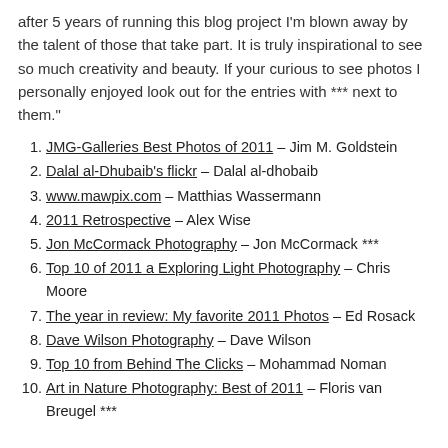after 5 years of running this blog project I'm blown away by the talent of those that take part. It is truly inspirational to see so much creativity and beauty. If your curious to see photos I personally enjoyed look out for the entries with *** next to them."
JMG-Galleries Best Photos of 2011 – Jim M. Goldstein
Dalal al-Dhubaib's flickr – Dalal al-dhobaib
www.mawpix.com – Matthias Wassermann
2011 Retrospective – Alex Wise
Jon McCormack Photography – Jon McCormack ***
Top 10 of 2011 a Exploring Light Photography – Chris Moore
The year in review: My favorite 2011 Photos – Ed Rosack
Dave Wilson Photography – Dave Wilson
Top 10 from Behind The Clicks – Mohammad Noman
Art in Nature Photography: Best of 2011 – Floris van Breugel ***